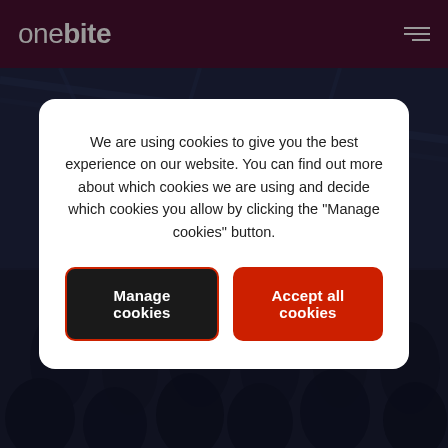onebite
[Figure (photo): Dark background photo of a stadium/arena crowd scene with structural beams visible, overlaid with dark tint]
We are using cookies to give you the best experience on our website. You can find out more about which cookies we are using and decide which cookies you allow by clicking the "Manage cookies" button.
Manage cookies
Accept all cookies
TECHNOLOGY OF ACE